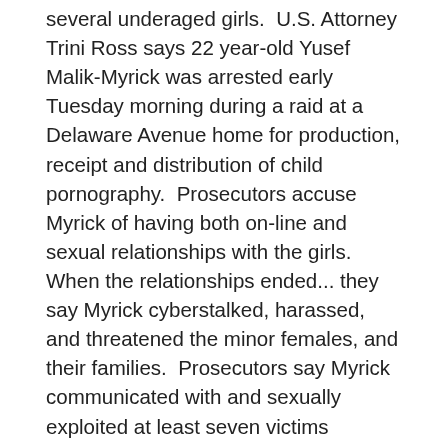several underaged girls.  U.S. Attorney Trini Ross says 22 year-old Yusef Malik-Myrick was arrested early Tuesday morning during a raid at a Delaware Avenue home for production, receipt and distribution of child pornography.  Prosecutors accuse Myrick of having both on-line and sexual relationships with the girls.  When the relationships ended... they say Myrick cyberstalked, harassed, and threatened the minor females, and their families.  Prosecutors say Myrick communicated with and sexually exploited at least seven victims primarily through Facebook, Snapchat, and Instagram.  Ross commended law enforcement for "tracking down this defendant, who is accused of engaging in a pattern of threatening behavior to numerous minor victims and taking him into custody."  She also encouraged other victims to come forward.  The U.S. Department of Homeland Security, county Sheriff's Office, and Ellicott Town Police took part in the raid.  The charges carry a maximum penalty of 30 years in prison and a $250,000 fine.